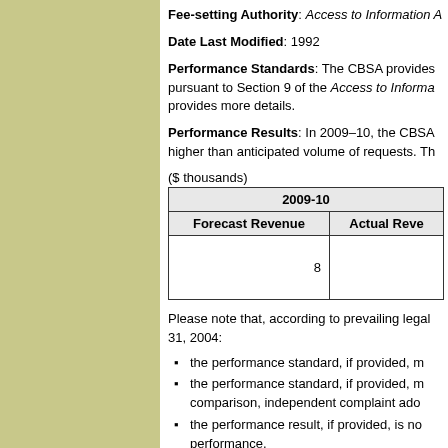Fee-setting Authority: Access to Information A
Date Last Modified: 1992
Performance Standards: The CBSA provides pursuant to Section 9 of the Access to Informa provides more details.
Performance Results: In 2009–10, the CBSA higher than anticipated volume of requests. Th
($ thousands)
| 2009-10 |  |
| --- | --- |
| Forecast Revenue | Actual Reve |
| 8 |  |
Please note that, according to prevailing legal 31, 2004:
the performance standard, if provided, m
the performance standard, if provided, m comparison, independent complaint ado
the performance result, if provided, is no performance.